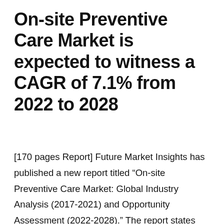On-site Preventive Care Market is expected to witness a CAGR of 7.1% from 2022 to 2028
[170 pages Report] Future Market Insights has published a new report titled “On-site Preventive Care Market: Global Industry Analysis (2017-2021) and Opportunity Assessment (2022-2028).” The report states that the standards set in the workplace for the